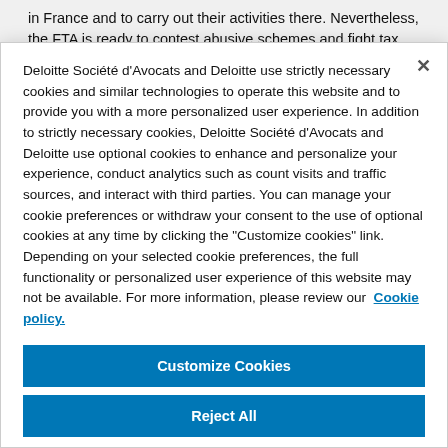in France and to carry out their activities there. Nevertheless, the FTA is ready to contest abusive schemes and fight tax fraud. That is the reason why it broadly
Deloitte Société d'Avocats and Deloitte use strictly necessary cookies and similar technologies to operate this website and to provide you with a more personalized user experience. In addition to strictly necessary cookies, Deloitte Société d'Avocats and Deloitte use optional cookies to enhance and personalize your experience, conduct analytics such as count visits and traffic sources, and interact with third parties. You can manage your cookie preferences or withdraw your consent to the use of optional cookies at any time by clicking the "Customize cookies" link. Depending on your selected cookie preferences, the full functionality or personalized user experience of this website may not be available. For more information, please review our Cookie policy.